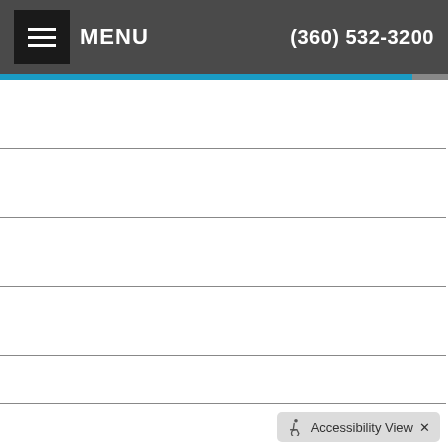MENU  (360) 532-3200
Life-Work Balance
Stress & Anxiety
Mind-Body Connection
Wellness
Pregnancy & Parenting
Back, Body & Joint Pain
Senior Health
Breaking Bad Habits
Accessibility View